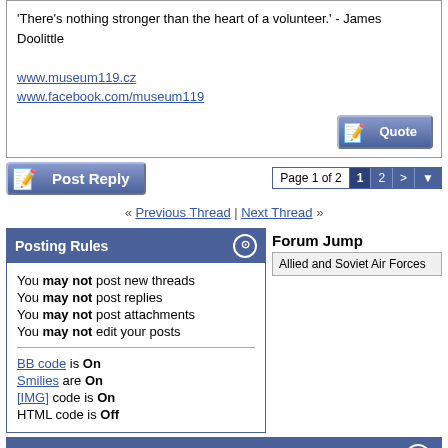'There's nothing stronger than the heart of a volunteer.' - James Doolittle

www.museum119.cz
www.facebook.com/museum119
« Previous Thread | Next Thread »
Posting Rules
You may not post new threads
You may not post replies
You may not post attachments
You may not edit your posts

BB code is On
Smilies are On
[IMG] code is On
HTML code is Off
Forum Jump
Allied and Soviet Air Forces
Similar Threads
| Thread | Thread Starter | Forum | Replies | Last Post |
| --- | --- | --- | --- | --- |
| German claims and Allied | Laurent Rizzotti | Allied and Soviet Air Forces | 2 | 19th May |